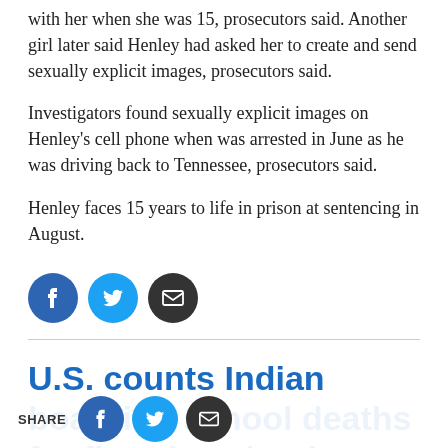with her when she was 15, prosecutors said. Another girl later said Henley had asked her to create and send sexually explicit images, prosecutors said.
Investigators found sexually explicit images on Henley's cell phone when was arrested in June as he was driving back to Tennessee, prosecutors said.
Henley faces 15 years to life in prison at sentencing in August.
[Figure (other): Three social share buttons: Facebook (blue circle with f), Twitter (light blue circle with bird), Email (dark circle with envelope)]
U.S. counts Indian boarding school deaths for first time, but leaves key questions unanswered
[Figure (other): Bottom share bar overlay with SHARE label and Facebook, Twitter, Email circular buttons]